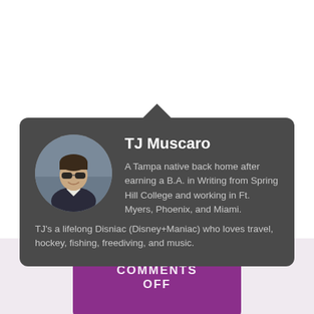[Figure (photo): Author bio card with circular profile photo of TJ Muscaro, a young man wearing sunglasses, on a dark gray rounded card background]
TJ Muscaro
A Tampa native back home after earning a B.A. in Writing from Spring Hill College and working in Ft. Myers, Phoenix, and Miami. TJ's a lifelong Disniac (Disney+Maniac) who loves travel, hockey, fishing, freediving, and music.
COMMENTS OFF